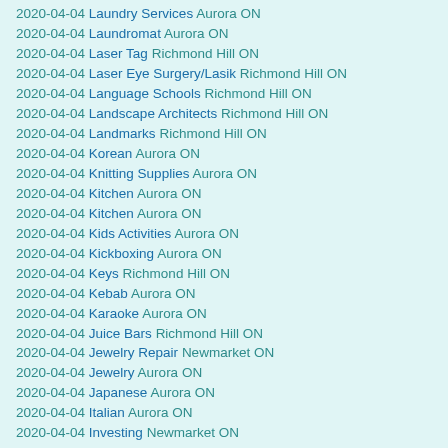2020-04-04 Laundry Services Aurora ON
2020-04-04 Laundromat Aurora ON
2020-04-04 Laser Tag Richmond Hill ON
2020-04-04 Laser Eye Surgery/Lasik Richmond Hill ON
2020-04-04 Language Schools Richmond Hill ON
2020-04-04 Landscape Architects Richmond Hill ON
2020-04-04 Landmarks Richmond Hill ON
2020-04-04 Korean Aurora ON
2020-04-04 Knitting Supplies Aurora ON
2020-04-04 Kitchen Aurora ON
2020-04-04 Kitchen Aurora ON
2020-04-04 Kids Activities Aurora ON
2020-04-04 Kickboxing Aurora ON
2020-04-04 Keys Richmond Hill ON
2020-04-04 Kebab Aurora ON
2020-04-04 Karaoke Aurora ON
2020-04-04 Juice Bars Richmond Hill ON
2020-04-04 Jewelry Repair Newmarket ON
2020-04-04 Jewelry Aurora ON
2020-04-04 Japanese Aurora ON
2020-04-04 Italian Aurora ON
2020-04-04 Investing Newmarket ON
2020-04-04 International Aurora ON